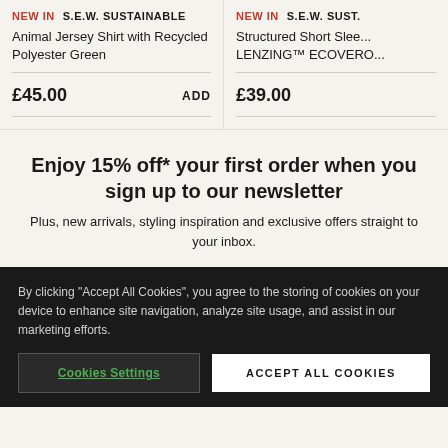NEW IN  S.E.W. SUSTAINABLE
Animal Jersey Shirt with Recycled Polyester Green
£45.00  ADD
NEW IN  S.E.W. SUST.
Structured Short Slee... LENZING™ ECOVERO...
£39.00
Enjoy 15% off* your first order when you sign up to our newsletter
Plus, new arrivals, styling inspiration and exclusive offers straight to your inbox.
By clicking "Accept All Cookies", you agree to the storing of cookies on your device to enhance site navigation, analyze site usage, and assist in our marketing efforts.
Cookies Settings
ACCEPT ALL COOKIES